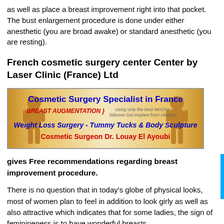as well as place a breast improvement right into that pocket. The bust enlargement procedure is done under either anesthetic (you are broad awake) or standard anesthetic (you are resting).
French cosmetic surgery center Center by Laser Clinic (France) Ltd
[Figure (illustration): Advertisement banner for Cosmetic Surgery Specialist in France featuring golden body figures on either side, with text: BREAST AUGMENTATION }, Using only the best McGhan Silicone Gel Implant from Allergan, Weight Loss Surgery - Tummy Tucks & Body Sculpture, Cosmetic Surgeon Dr. Louay El Ayoubi]
gives Free recommendations regarding breast improvement procedure.
There is no question that in today’s globe of physical looks, most of women plan to feel in addition to look girly as well as also attractive which indicates that for some ladies, the sign of feminineness is to have wonderful breasts.